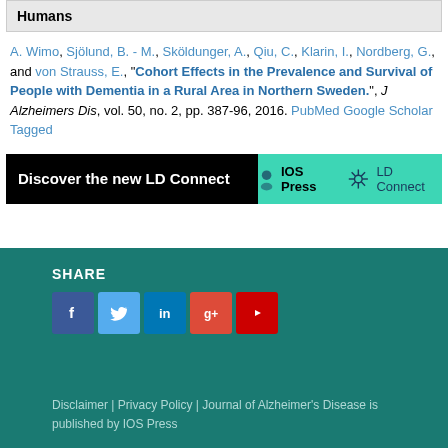Humans
A. Wimo, Sjölund, B. - M., Sköldunger, A., Qiu, C., Klarin, I., Nordberg, G., and von Strauss, E., "Cohort Effects in the Prevalence and Survival of People with Dementia in a Rural Area in Northern Sweden.", J Alzheimers Dis, vol. 50, no. 2, pp. 387-96, 2016. PubMed Google Scholar Tagged
[Figure (other): Banner advertisement for IOS Press LD Connect]
SHARE
[Figure (other): Social media icons: Facebook, Twitter, LinkedIn, Google+, YouTube]
Disclaimer | Privacy Policy | Journal of Alzheimer's Disease is published by IOS Press